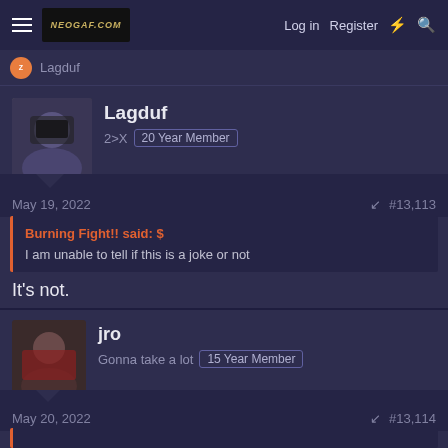Log in  Register
Lagduf
Lagduf
2>X  20 Year Member
May 19, 2022  #13,113
Burning Fight!! said:
I am unable to tell if this is a joke or not
It's not.
jro
Gonna take a lot  15 Year Member
May 20, 2022  #13,114